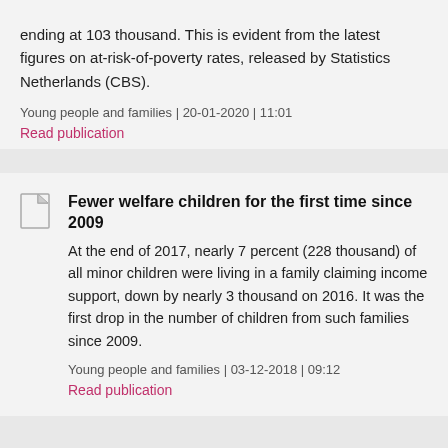ending at 103 thousand. This is evident from the latest figures on at-risk-of-poverty rates, released by Statistics Netherlands (CBS).
Young people and families | 20-01-2020 | 11:01
Read publication
Fewer welfare children for the first time since 2009
At the end of 2017, nearly 7 percent (228 thousand) of all minor children were living in a family claiming income support, down by nearly 3 thousand on 2016. It was the first drop in the number of children from such families since 2009.
Young people and families | 03-12-2018 | 09:12
Read publication